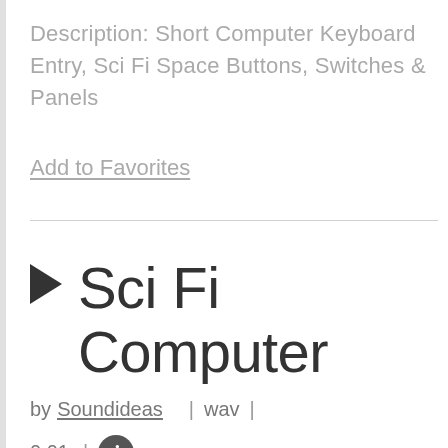Description: Short Computer Keyboard Entry, Sci Fi Space Buttons, Switches & Panels
Add to Favorites
Sci Fi Computer
by Soundideas | wav | 0:01 |